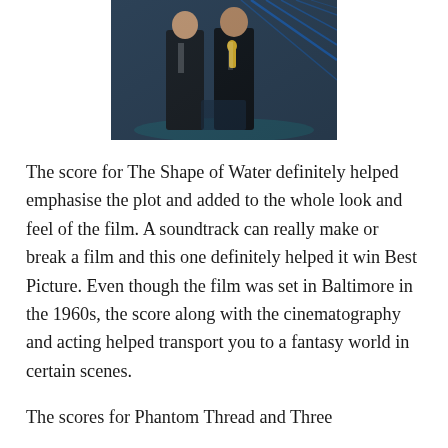[Figure (photo): Two men in formal tuxedos standing at a podium, one holding an Oscar statuette, at what appears to be the Academy Awards ceremony with blue geometric lighting in the background.]
The score for The Shape of Water definitely helped emphasise the plot and added to the whole look and feel of the film. A soundtrack can really make or break a film and this one definitely helped it win Best Picture. Even though the film was set in Baltimore in the 1960s, the score along with the cinematography and acting helped transport you to a fantasy world in certain scenes.
The scores for Phantom Thread and Three